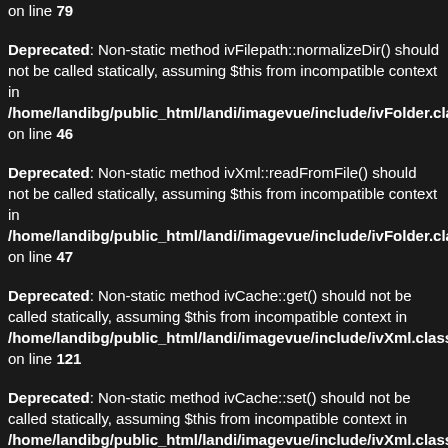on line 79
Deprecated: Non-static method ivFilepath::normalizeDir() should not be called statically, assuming $this from incompatible context in /home/landibg/public_html/landi/imagevue/include/ivFolder.cla on line 46
Deprecated: Non-static method ivXml::readFromFile() should not be called statically, assuming $this from incompatible context in /home/landibg/public_html/landi/imagevue/include/ivFolder.cla on line 47
Deprecated: Non-static method ivCache::get() should not be called statically, assuming $this from incompatible context in /home/landibg/public_html/landi/imagevue/include/ivXml.class. on line 121
Deprecated: Non-static method ivCache::set() should not be called statically, assuming $this from incompatible context in /home/landibg/public_html/landi/imagevue/include/ivXml.class. on line 130
Deprecated: Non-static method ivPool::get() should not be called statically, assuming $this from incompatible context in /home/landibg/public_html/landi/imagevue/include/ivFolder.cla on line 49